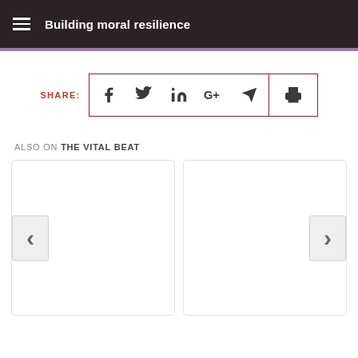Building moral resilience
SHARE:
[Figure (infographic): Social share icons row: Facebook, Twitter, LinkedIn, Google+, email/send, and print icons inside a dark red bordered box]
ALSO ON THE VITAL BEAT
[Figure (infographic): Two article card placeholders side by side with left chevron navigation arrow on the left card and right chevron navigation arrow on the right card]